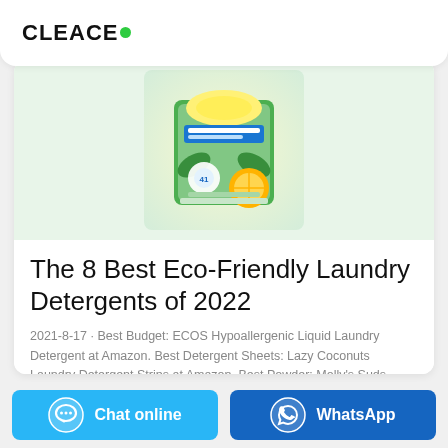CLEACE
[Figure (photo): Product image of a laundry detergent package with green, yellow and citrus design elements]
The 8 Best Eco-Friendly Laundry Detergents of 2022
2021-8-17 · Best Budget: ECOS Hypoallergenic Liquid Laundry Detergent at Amazon. Best Detergent Sheets: Lazy Coconuts Laundry Detergent Strips at Amazon. Best Powder: Molly's Suds Original Laundry Detergent ...
Chat online
WhatsApp